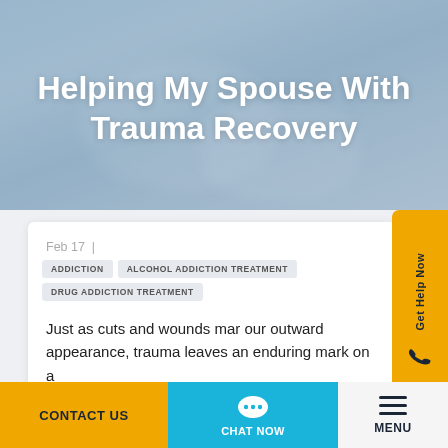[Figure (photo): Blurred hero background photo showing hands, with blue-grey toned overlay]
Helping My Spouse With Trauma Recovery
Feb 17 |
ADDICTION
ALCOHOL ADDICTION TREATMENT
DRUG ADDICTION TREATMENT
Just as cuts and wounds mar our outward appearance, trauma leaves an enduring mark on a
Get Help Now
CONTACT US
CHAT NOW
MENU